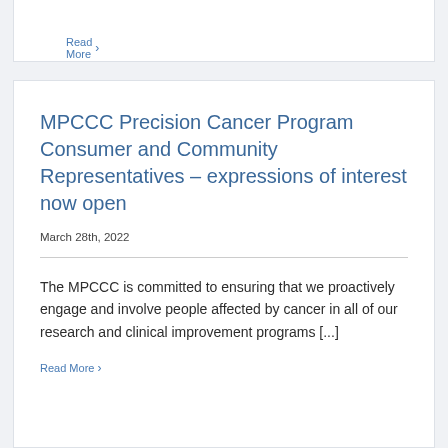Read More >
MPCCC Precision Cancer Program Consumer and Community Representatives – expressions of interest now open
March 28th, 2022
The MPCCC is committed to ensuring that we proactively engage and involve people affected by cancer in all of our research and clinical improvement programs [...]
Read More >